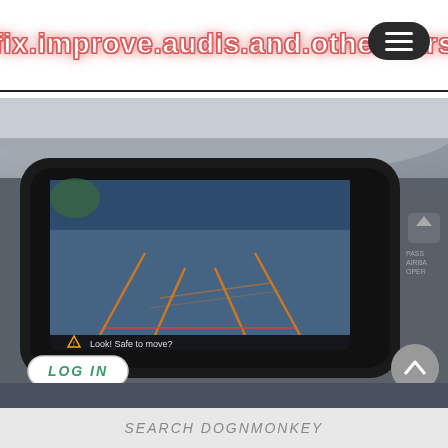fix.improve.audis.and.other.cars
[Figure (screenshot): Car dashboard infotainment screen showing a rear-view camera display with orange parking guide lines on a blue-tinted camera view of a concrete surface. Below the camera image is a warning triangle with text 'Look! Safe to move?' A LOG IN badge is visible in the bottom-left corner of the image, and there are car interior elements including dashboard controls on the right side including an Audi PASS AIRBA OPER button.]
SEARCH DOGNMONKEY